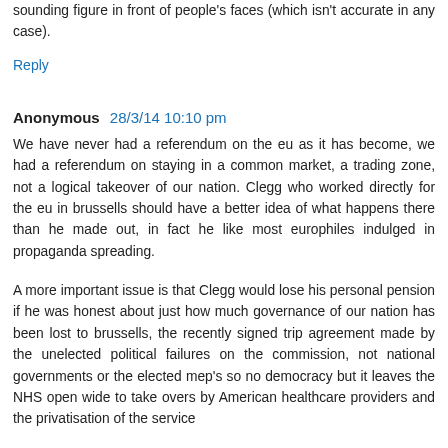sounding figure in front of people's faces (which isn't accurate in any case).
Reply
Anonymous  28/3/14 10:10 pm
We have never had a referendum on the eu as it has become, we had a referendum on staying in a common market, a trading zone, not a logical takeover of our nation. Clegg who worked directly for the eu in brussells should have a better idea of what happens there than he made out, in fact he like most europhiles indulged in propaganda spreading.
A more important issue is that Clegg would lose his personal pension if he was honest about just how much governance of our nation has been lost to brussells, the recently signed trip agreement made by the unelected political failures on the commission, not national governments or the elected mep's so no democracy but it leaves the NHS open wide to take overs by American healthcare providers and the privatisation of the service